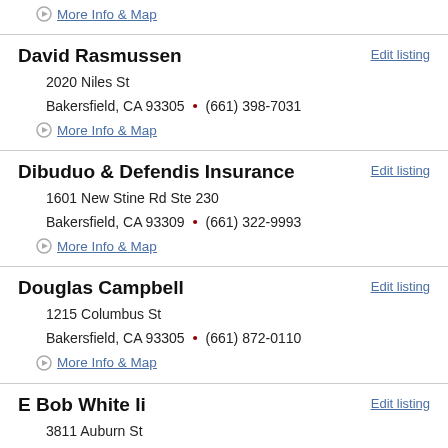More Info & Map
David Rasmussen
2020 Niles St
Bakersfield, CA 93305 • (661) 398-7031
More Info & Map
Edit listing
Dibuduo & Defendis Insurance
1601 New Stine Rd Ste 230
Bakersfield, CA 93309 • (661) 322-9993
More Info & Map
Edit listing
Douglas Campbell
1215 Columbus St
Bakersfield, CA 93305 • (661) 872-0110
More Info & Map
Edit listing
E Bob White Ii
3811 Auburn St
Bakersfield, CA 93306 • (661) 871-3000
Edit listing